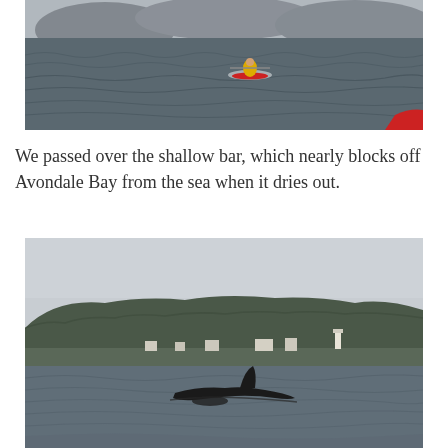[Figure (photo): A sea kayaker in a yellow jacket paddling on choppy grey water, with forested hills partially obscured by mist in the background. A red kayak bow is visible in the lower right corner.]
We passed over the shallow bar, which nearly blocks off Avondale Bay from the sea when it dries out.
[Figure (photo): A whale's dorsal fin and back breaking the surface of grey choppy water, with forested hills, houses, and a lighthouse visible in the background under an overcast sky.]